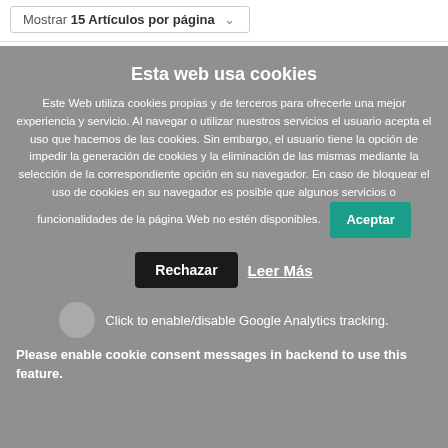Mostrar 15 Artículos por página
Esta web usa cookies
Este Web utiliza cookies propias y de terceros para ofrecerle una mejor experiencia y servicio. Al navegar o utilizar nuestros servicios el usuario acepta el uso que hacemos de las cookies. Sin embargo, el usuario tiene la opción de impedir la generación de cookies y la eliminación de las mismas mediante la selección de la correspondiente opción en su navegador. En caso de bloquear el uso de cookies en su navegador es posible que algunos servicios o funcionalidades de la página Web no estén disponibles.
Aceptar
Rechazar
Leer Más
Click to enable/disable Google Analytics tracking.
Please enable cookie consent messages in backend to use this feature.